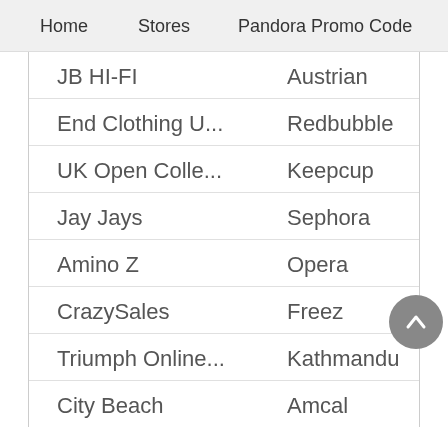Home   Stores   Pandora Promo Code
JB HI-FI    Austrian
End Clothing U...    Redbubble
UK Open Colle...    Keepcup
Jay Jays    Sephora
Amino Z    Opera
CrazySales    Freez
Triumph Online...    Kathmandu
City Beach    Amcal